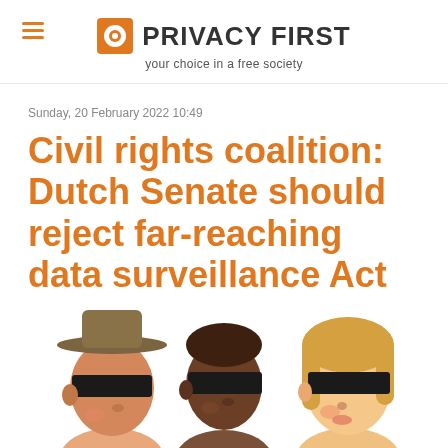PRIVACY FIRST — your choice in a free society
Sunday, 20 February 2022 10:49
Civil rights coalition: Dutch Senate should reject far-reaching data surveillance Act
[Figure (illustration): Three illustrated figures with black bars across their eyes — a person in a brown hat, a darker-skinned figure, and a blonde woman — representing privacy/anonymity concept]